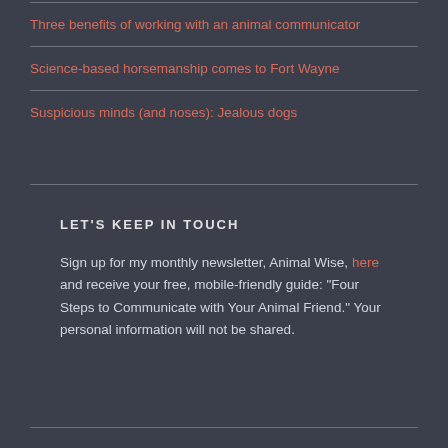Three benefits of working with an animal communicator
Science-based horsemanship comes to Fort Wayne
Suspicious minds (and noses): Jealous dogs
LET'S KEEP IN TOUCH
Sign up for my monthly newsletter, Animal Wise, here and receive your free, mobile-friendly guide: "Four Steps to Communicate with Your Animal Friend." Your personal information will not be shared.